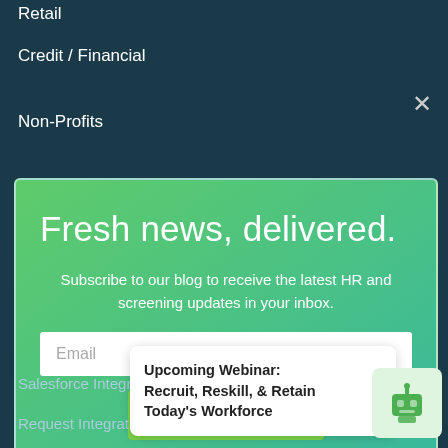Retail
Credit / Financial
Non-Profits
[Figure (screenshot): Newsletter subscription modal with green gradient background. Contains headline 'Fresh news, delivered.' and subtitle 'Subscribe to our blog to receive the latest HR and screening updates in your inbox.' with an email input field and Subscribe button.]
Fresh news, delivered.
Subscribe to our blog to receive the latest HR and screening updates in your inbox.
Salesforce Integra...
Request Integrati...
Upcoming Webinar: Recruit, Reskill, & Retain Today's Workforce